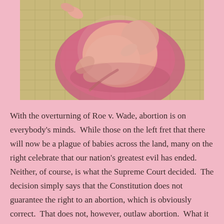[Figure (illustration): Illustration of a fetus curled up against a pinkish background with a tiled floor surface visible beneath]
With the overturning of Roe v. Wade, abortion is on everybody's minds.  While those on the left fret that there will now be a plague of babies across the land, many on the right celebrate that our nation's greatest evil has ended.  Neither, of course, is what the Supreme Court decided.  The decision simply says that the Constitution does not guarantee the right to an abortion, which is obviously correct.  That does not, however, outlaw abortion.  What it does is allows the states to decide their own rules on abortion.  This means that